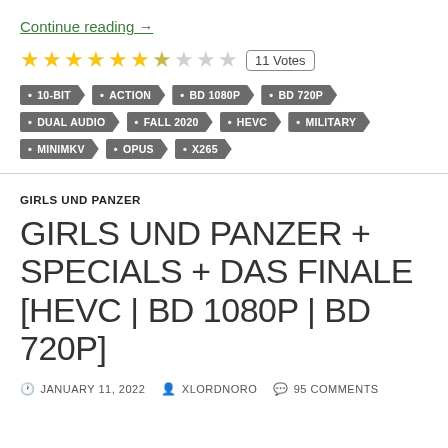Continue reading →
★★★★★★☆☆☆  11 Votes
10-BIT • ACTION • BD 1080P • BD 720P • DUAL AUDIO • FALL 2020 • HEVC • MILITARY • MINIMKV • OPUS • X265
GIRLS UND PANZER
GIRLS UND PANZER + SPECIALS + DAS FINALE [HEVC | BD 1080P | BD 720P]
JANUARY 11, 2022  XLORDNORO  95 COMMENTS